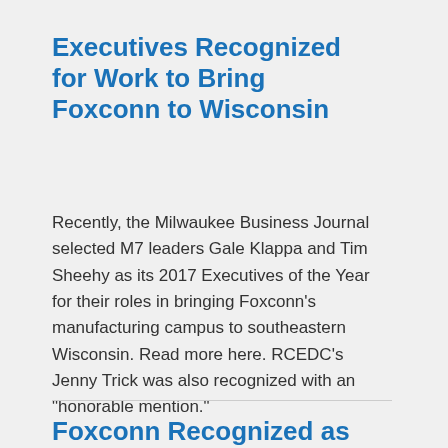Executives Recognized for Work to Bring Foxconn to Wisconsin
Recently, the Milwaukee Business Journal selected M7 leaders Gale Klappa and Tim Sheehy as its 2017 Executives of the Year for their roles in bringing Foxconn's manufacturing campus to southeastern Wisconsin. Read more here. RCEDC's Jenny Trick was also recognized with an "honorable mention."
Foxconn Recognized as